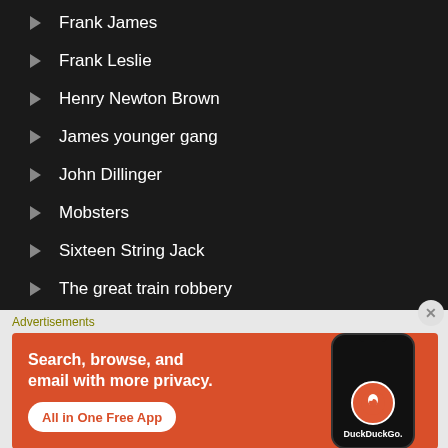Frank James
Frank Leslie
Henry Newton Brown
James younger gang
John Dillinger
Mobsters
Sixteen String Jack
The great train robbery
The Rufus Buck Gang
Advertisements
[Figure (screenshot): DuckDuckGo advertisement banner on orange background with text 'Search, browse, and email with more privacy. All in One Free App' and a phone mockup showing the DuckDuckGo app]